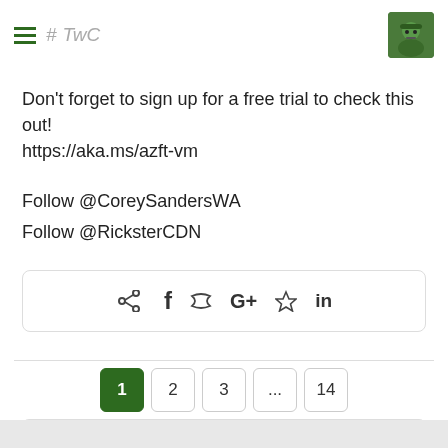#TwC [avatar image]
Don't forget to sign up for a free trial to check this out!
https://aka.ms/azft-vm
Follow @CoreySandersWA
Follow @RicksterCDN
[Figure (other): Social share bar with share, Facebook, Twitter, Google+, Pinterest, LinkedIn icons]
[Figure (other): Pagination: page 1 (active, green), 2, 3, ..., 14 and Next button with arrow]